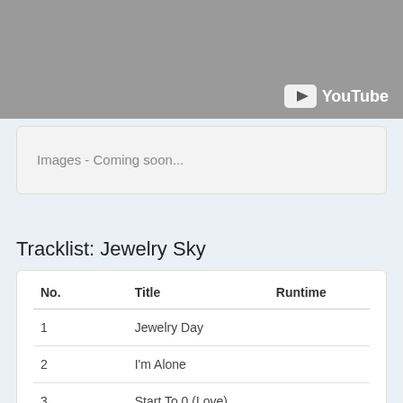[Figure (screenshot): YouTube video thumbnail placeholder with gray background and YouTube logo in bottom right corner]
Images - Coming soon...
Tracklist: Jewelry Sky
| No. | Title | Runtime |
| --- | --- | --- |
| 1 | Jewelry Day |  |
| 2 | I'm Alone |  |
| 3 | Start To 0 (Love) (Acoustic Ver.) |  |